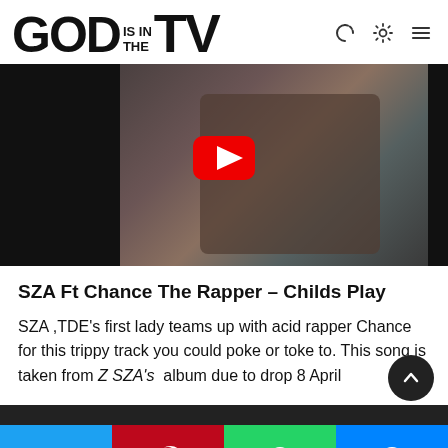GOD IS IN THE TV
[Figure (photo): Video thumbnail screenshot showing a person reclining, with a red YouTube play button overlay, on a dark/black background]
SZA Ft Chance The Rapper – Childs Play
SZA ,TDE's first lady teams up with acid rapper Chance for this trippy track you could poke or toke to. This song is taken from Z SZA's album due to drop 8 April
Twitter | Pinterest | WhatsApp | Messenger